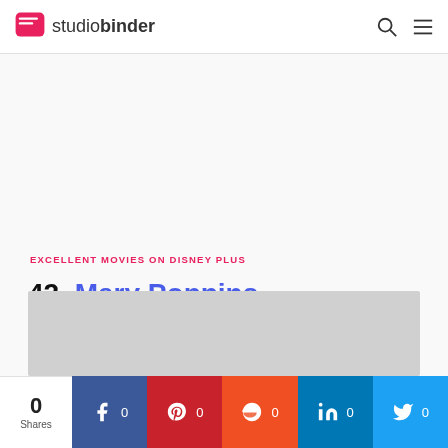studiobinder
EXCELLENT MOVIES ON DISNEY PLUS
42. Mary Poppins
[Figure (photo): Gray placeholder image for Mary Poppins movie]
0 Shares | Facebook 0 | Pinterest 0 | Reddit 0 | LinkedIn 0 | Twitter 0